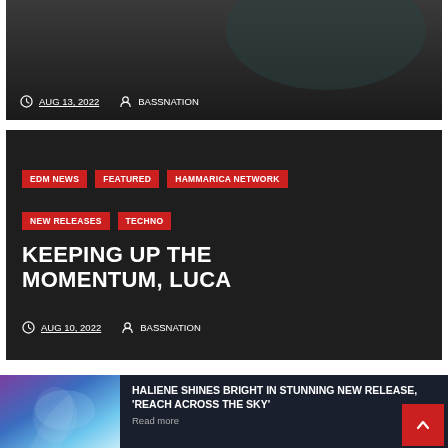[Figure (photo): Dark background card with person image partially visible]
AUG 13, 2022  BASSNATION
[Figure (other): Dark card with tags and article title KEEPING UP THE MOMENTUM, LUCA]
EDM NEWS
FEATURED
HAMMARICA NETWORK
NEW RELEASES
TECHNO
KEEPING UP THE MOMENTUM, LUCA
AUG 10, 2022  BASSNATION
[Figure (photo): Colorful fantasy illustration of a female figure with light effects]
HALIENE SHINES BRIGHT IN STUNNING NEW RELEASE, 'REACH ACROSS THE SKY'
Read more